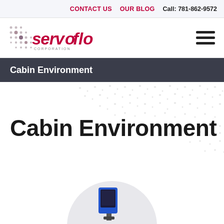CONTACT US   OUR BLOG   Call: 781-862-9572
[Figure (logo): Servoflo Corporation logo with dot grid pattern and red italic wordmark]
Cabin Environment
Cabin Environment
[Figure (photo): Partial circular product image at bottom of hero section showing a blue/dark component]